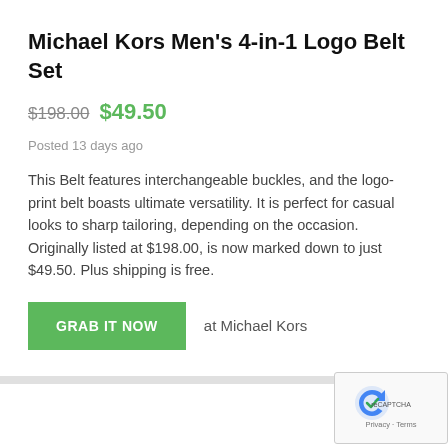Michael Kors Men's 4-in-1 Logo Belt Set
$198.00 $49.50
Posted 13 days ago
This Belt features interchangeable buckles, and the logo-print belt boasts ultimate versatility. It is perfect for casual looks to sharp tailoring, depending on the occasion. Originally listed at $198.00, is now marked down to just $49.50. Plus shipping is free.
GRAB IT NOW at Michael Kors
[Figure (screenshot): reCAPTCHA privacy badge with Google logo in bottom right corner, showing Privacy and Terms links]